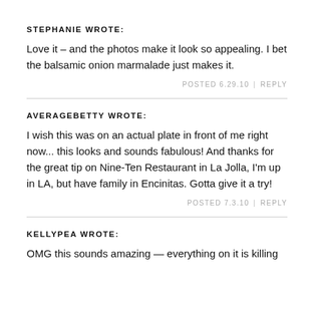STEPHANIE WROTE:
Love it – and the photos make it look so appealing. I bet the balsamic onion marmalade just makes it.
POSTED 6.29.10  |  REPLY
AVERAGEBETTY WROTE:
I wish this was on an actual plate in front of me right now... this looks and sounds fabulous! And thanks for the great tip on Nine-Ten Restaurant in La Jolla, I'm up in LA, but have family in Encinitas. Gotta give it a try!
POSTED 7.3.10  |  REPLY
KELLYPEA WROTE:
OMG this sounds amazing — everything on it is killing